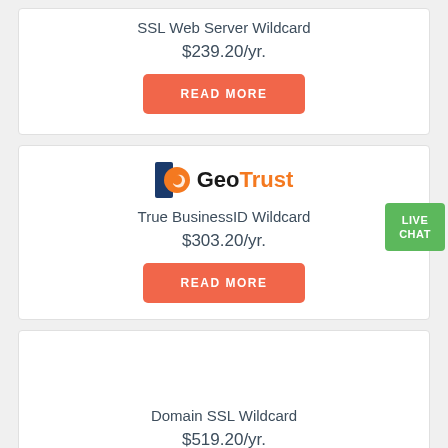SSL Web Server Wildcard
$239.20/yr.
READ MORE
[Figure (logo): GeoTrust logo with orange and blue icon]
True BusinessID Wildcard
$303.20/yr.
READ MORE
Domain SSL Wildcard
$519.20/yr.